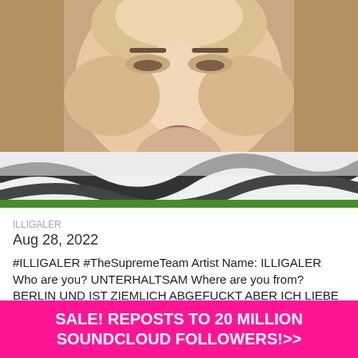[Figure (photo): Close-up photo of a young man's face looking down at the camera, lying on a black and white patterned pillow/fabric, with a green edge visible at bottom]
ILLIGALER
Aug 28, 2022
#ILLIGALER #TheSupremeTeam Artist Name: ILLIGALER Who are you? UNTERHALTSAM Where are you from? BERLIN UND IST ZIEMLICH ABGEFUCKT ABER ICH LIEBE DIE ALTERNATIVE RAPZENE (LEIDER WIE GESAGT
SALE! REPOSTS TO 20 MILLION SOUNDCLOUD FOLLOWERS!>>